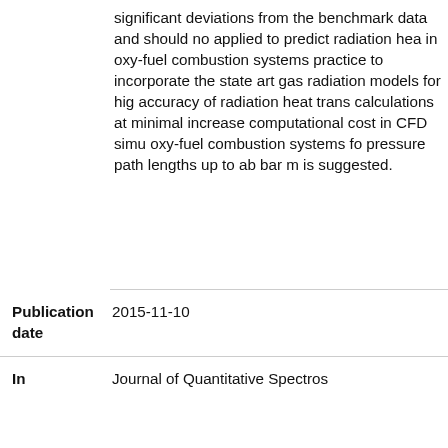significant deviations from the benchmark data and should not be applied to predict radiation heat transfer in oxy-fuel combustion systems. It is good practice to incorporate the state-of-the-art gas radiation models for high accuracy of radiation heat transfer calculations at minimal increase of computational cost in CFD simulations of oxy-fuel combustion systems for pressure path lengths up to about 60 bar m is suggested.
| Field | Value |
| --- | --- |
| Publication date | 2015-11-10 |
| In | Journal of Quantitative Spectros... |